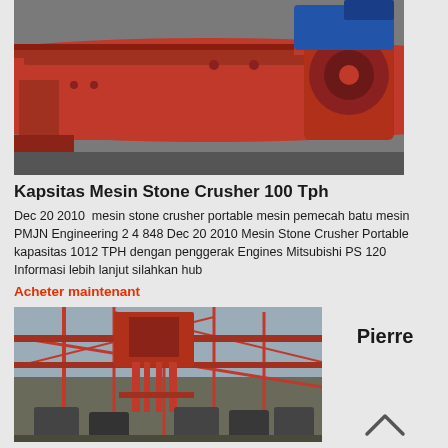[Figure (photo): Red industrial stone crusher machine photographed in a workshop/factory setting]
Kapsitas Mesin Stone Crusher 100 Tph
Dec 20 2010  mesin stone crusher portable mesin pemecah batu mesin PMJN Engineering 2 4 848 Dec 20 2010 Mesin Stone Crusher Portable kapasitas 1012 TPH dengan penggerak Engines Mitsubishi PS 120 Informasi lebih lanjut silahkan hub
Acheter maintenant
[Figure (photo): Industrial stone crusher plant with orange steel structure, conveyor belts, and multiple crusher units in an outdoor/semi-outdoor setting]
Pierre